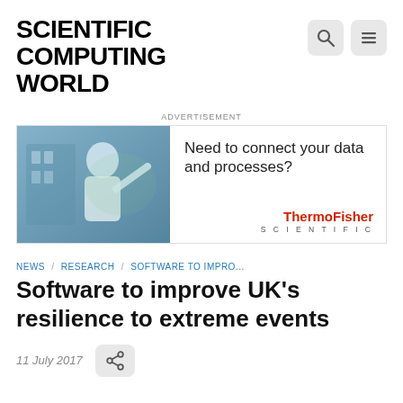[Figure (logo): Scientific Computing World logo — bold uppercase text: SCIENTIFIC COMPUTING WORLD]
[Figure (screenshot): Search icon button (magnifying glass) and hamburger menu icon, both in rounded grey boxes]
ADVERTISEMENT
[Figure (photo): ThermoFisher Scientific advertisement banner. Left side shows a scientist in a lab coat pointing at a digital display. Right side shows text: 'Need to connect your data and processes?' with ThermoFisher SCIENTIFIC logo in red/grey.]
NEWS / RESEARCH / SOFTWARE TO IMPRO...
Software to improve UK's resilience to extreme events
11 July 2017